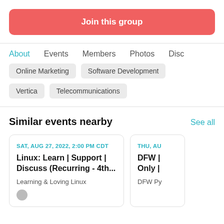Join this group
About
Events
Members
Photos
Disc
Online Marketing
Software Development
Vertica
Telecommunications
Similar events nearby
See all
SAT, AUG 27, 2022, 2:00 PM CDT
Linux: Learn | Support | Discuss (Recurring - 4th...
Learning & Loving Linux
THU, AU
DFW | Only |
DFW Py